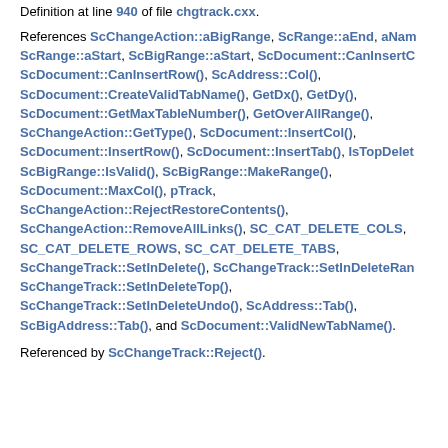Definition at line 940 of file chgtrack.cxx.
References ScChangeAction::aBigRange, ScRange::aEnd, aName, ScRange::aStart, ScBigRange::aStart, ScDocument::CanInsertCol(), ScDocument::CanInsertRow(), ScAddress::Col(), ScDocument::CreateValidTabName(), GetDx(), GetDy(), ScDocument::GetMaxTableNumber(), GetOverAllRange(), ScChangeAction::GetType(), ScDocument::InsertCol(), ScDocument::InsertRow(), ScDocument::InsertTab(), IsTopDelete, ScBigRange::IsValid(), ScBigRange::MakeRange(), ScDocument::MaxCol(), pTrack, ScChangeAction::RejectRestoreContents(), ScChangeAction::RemoveAllLinks(), SC_CAT_DELETE_COLS, SC_CAT_DELETE_ROWS, SC_CAT_DELETE_TABS, ScChangeTrack::SetInDelete(), ScChangeTrack::SetInDeleteRange, ScChangeTrack::SetInDeleteTop(), ScChangeTrack::SetInDeleteUndo(), ScAddress::Tab(), ScBigAddress::Tab(), and ScDocument::ValidNewTabName().
Referenced by ScChangeTrack::Reject().